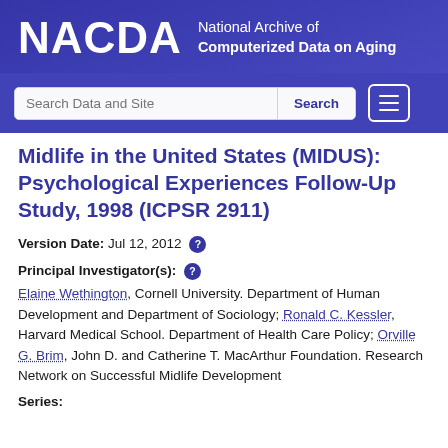NACDA National Archive of Computerized Data on Aging
Midlife in the United States (MIDUS): Psychological Experiences Follow-Up Study, 1998 (ICPSR 2911)
Version Date: Jul 12, 2012
Principal Investigator(s): Elaine Wethington, Cornell University. Department of Human Development and Department of Sociology; Ronald C. Kessler, Harvard Medical School. Department of Health Care Policy; Orville G. Brim, John D. and Catherine T. MacArthur Foundation. Research Network on Successful Midlife Development
Series: